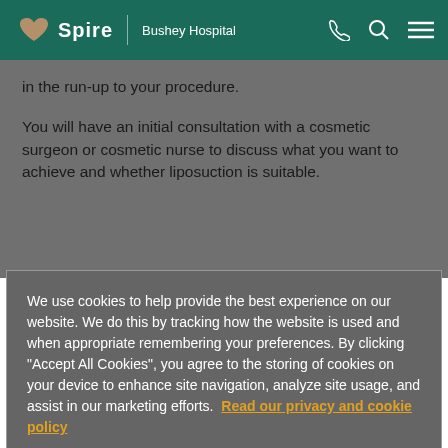Spire | Bushey Hospital
in the run-up to your procedure.
You will have an initial consultation with a cosmetic surgeon or cosmetic nurse to discuss what you want to achieve and whether liposuction is suitable.
We use cookies to help provide the best experience on our website. We do this by tracking how the website is used and when appropriate remembering your preferences. By clicking "Accept All Cookies", you agree to the storing of cookies on your device to enhance site navigation, analyze site usage, and assist in our marketing efforts. Read our privacy and cookie policy